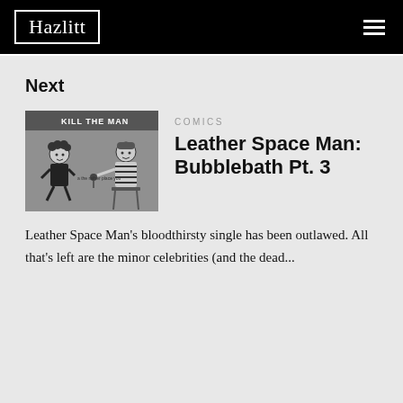Hazlitt
Next
[Figure (illustration): Comic strip panel showing two cartoon characters. Text at top reads KILL THE MAN. One character with curly hair sits on the left, another in striped clothing sits on a stool on the right.]
COMICS
Leather Space Man: Bubblebath Pt. 3
Leather Space Man's bloodthirsty single has been outlawed. All that's left are the minor celebrities (and the dead...